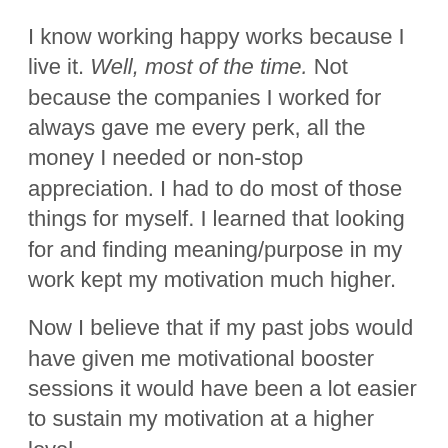I know working happy works because I live it. Well, most of the time. Not because the companies I worked for always gave me every perk, all the money I needed or non-stop appreciation. I had to do most of those things for myself. I learned that looking for and finding meaning/purpose in my work kept my motivation much higher.
Now I believe that if my past jobs would have given me motivational booster sessions it would have been a lot easier to sustain my motivation at a higher level.